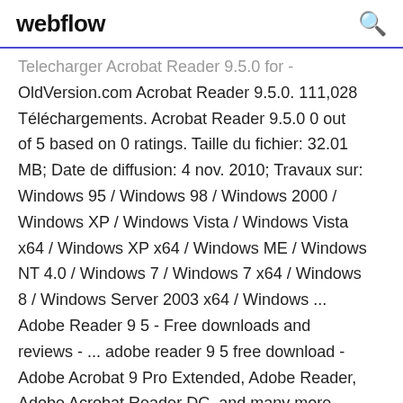webflow [search icon]
Telecharger Acrobat Reader 9.5.0 for - OldVersion.com Acrobat Reader 9.5.0. 111,028 Téléchargements. Acrobat Reader 9.5.0 0 out of 5 based on 0 ratings. Taille du fichier: 32.01 MB; Date de diffusion: 4 nov. 2010; Travaux sur: Windows 95 / Windows 98 / Windows 2000 / Windows XP / Windows Vista / Windows Vista x64 / Windows XP x64 / Windows ME / Windows NT 4.0 / Windows 7 / Windows 7 x64 / Windows 8 / Windows Server 2003 x64 / Windows ... Adobe Reader 9 5 - Free downloads and reviews - ... adobe reader 9 5 free download - Adobe Acrobat 9 Pro Extended, Adobe Reader, Adobe Acrobat Reader DC, and many more programs Download Acrobat Reader 9.5.0 for